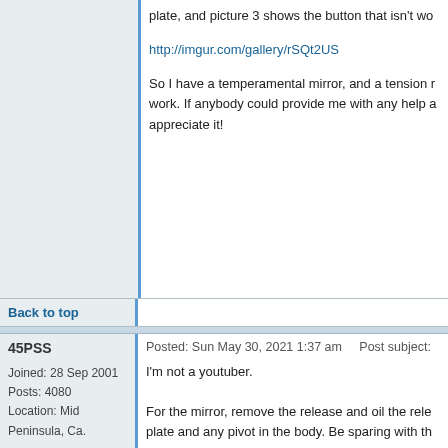plate, and picture 3 shows the button that isn't wo...
http://imgur.com/gallery/rSQt2US
So I have a temperamental mirror, and a tension r... work. If anybody could provide me with any help a... appreciate it!
Back to top
45PSS
Posted: Sun May 30, 2021 1:37 am    Post subject:
Joined: 28 Sep 2001
Posts: 4080
Location: Mid Peninsula, Ca.
I'm not a youtuber.

For the mirror, remove the release and oil the rele... plate and any pivot in the body. Be sparing with th... TriFlow in one of the videos is good stuff, I use it. I use a 4 inch adjustable wrench in place of the fla... https://www.ebay.com/itm/371990479517?hash=item569c5c429d:g:Gu0AAOSwMvtZTMCH check your local hardware store.

As for the tension release button it may be stuck. ... tensioning gear by turning the wind key in the dire... the thickness of the key wing and try to operate th... If the button moves up but does not come back do...